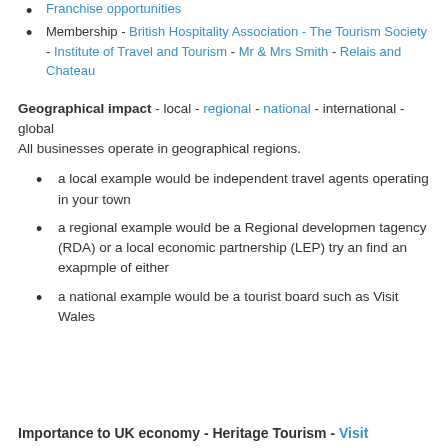Franchise opportunities
Membership - British Hospitality Association - The Tourism Society - Institute of Travel and Tourism - Mr & Mrs Smith - Relais and Chateau
Geographical impact - local - regional - national - international - global
All businesses operate in geographical regions.
a local example would be independent travel agents operating in your town
a regional example would be a Regional developmen tagency (RDA) or a local economic partnership (LEP) try an find an exapmple of either
a national example would be a tourist board such as Visit Wales
Importance to UK economy - Heritage Tourism - Visit